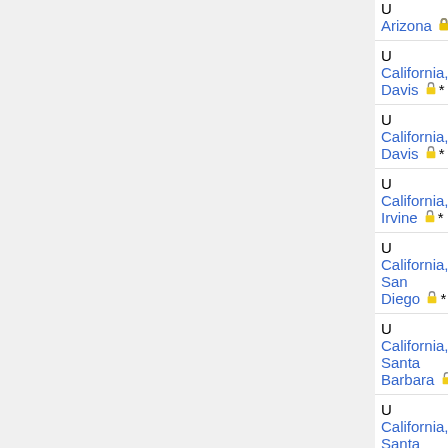| Institution | Type | Date | Person |
| --- | --- | --- | --- |
| U Arizona 🔒* |  |  |  |
| U California, Davis 🔒* | data/signal | postdoc |  |
| U California, Davis 🔒* | Krener |  | Peter Koroteev |
| U California, Irvine 🔒* |  |  | Offers (Ja 28) |
| U California, San Diego 🔒* |  |  | Offers (Ja 26) |
| U California, Santa Barbara 🔒* | post-doc | 11/15/2014 |  |
| U California, Santa |  |  |  |